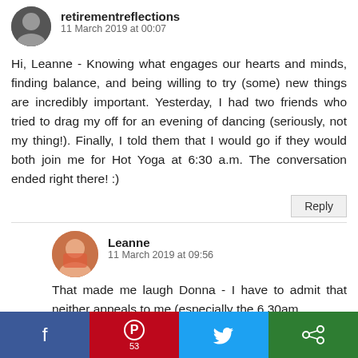retirementreflections
11 March 2019 at 00:07
Hi, Leanne - Knowing what engages our hearts and minds, finding balance, and being willing to try (some) new things are incredibly important. Yesterday, I had two friends who tried to drag my off for an evening of dancing (seriously, not my thing!). Finally, I told them that I would go if they would both join me for Hot Yoga at 6:30 a.m. The conversation ended right there! :)
Reply
Leanne
11 March 2019 at 09:56
That made me laugh Donna - I have to admit that neither appeals to me (especially the 6.30am
[Figure (infographic): Social share bar with Facebook (blue), Pinterest (red, 53 shares), Twitter (light blue), and a green More button with icons]